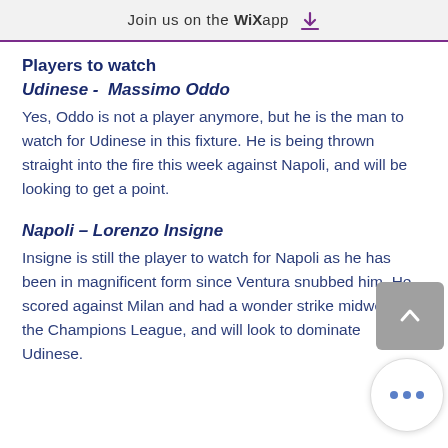Join us on the WiX app
Players to watch
Udinese - Massimo Oddo
Yes, Oddo is not a player anymore, but he is the man to watch for Udinese in this fixture. He is being thrown straight into the fire this week against Napoli, and will be looking to get a point.
Napoli - Lorenzo Insigne
Insigne is still the player to watch for Napoli as he has been in magnificent form since Ventura snubbed him. He scored against Milan and had a wonder strike midweek in the Champions League, and will look to dominate Udinese.